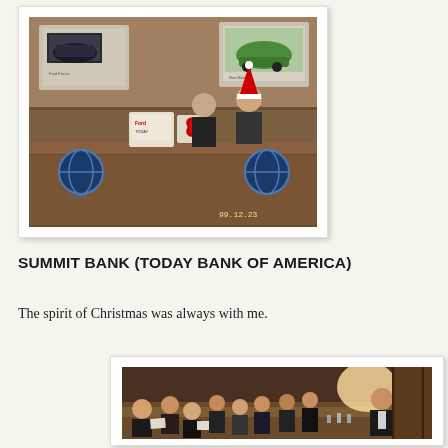[Figure (photo): Bank reception desk scene with two people behind counter, one wearing a Santa hat, Christmas red bow decoration visible, bank signage and car advertisement posters in background, timestamp 99.12.23]
SUMMIT BANK (TODAY BANK OF AMERICA)
The spirit of Christmas was always with me.
[Figure (photo): Group of people seated at a restaurant dinner table, smiling at camera, appears to be a holiday or work celebration meal]